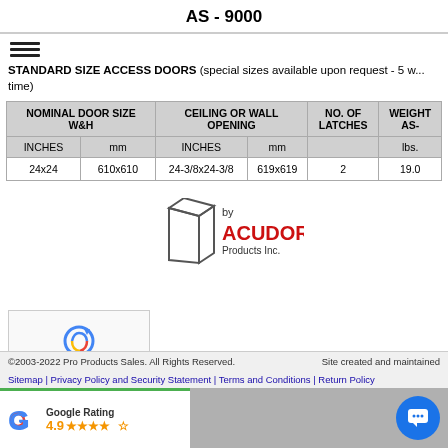AS - 9000
STANDARD SIZE ACCESS DOORS (special sizes available upon request - 5 w... time)
| ['NOMINAL DOOR SIZE W&H', '', 'CEILING OR WALL OPENING', '', 'NO. OF LATCHES', 'WEIGHT lbs. AS-'] | ['INCHES', 'mm', 'INCHES', 'mm', '', 'lbs.'] |
| --- | --- |
| 24x24 | 610x610 | 24-3/8x24-3/8 | 619x619 | 2 | 19.0 |
[Figure (logo): Acudor Products Inc. logo with door icon]
[Figure (other): reCAPTCHA Privacy - Terms widget]
©2003-2022 Pro Products Sales. All Rights Reserved. Site created and maintained...
Sitemap | Privacy Policy and Security Statement | Terms and Conditions | Return Policy
[Figure (other): Google Rating 4.9 stars widget]
[Figure (other): Chat button circle icon]